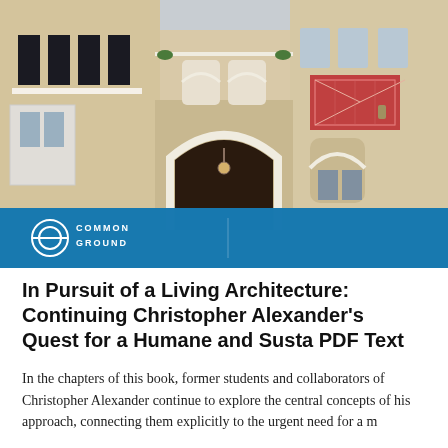[Figure (photo): Photograph of a multi-story Mediterranean/colonial style building facade with arched entrance, balconies with railings, yellow stucco walls, and decorative tile panel. Blue banner overlay at bottom with 'Common Ground' logo on left and 'The Constructed Environment' logo on right.]
In Pursuit of a Living Architecture: Continuing Christopher Alexander's Quest for a Humane and Susta PDF Text
In the chapters of this book, former students and collaborators of Christopher Alexander continue to explore the central concepts of his approach, connecting them explicitly to the urgent need for a m